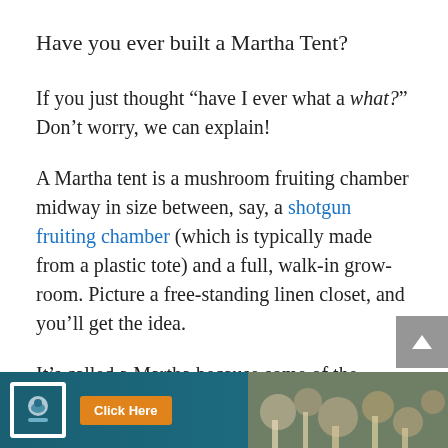Have you ever built a Martha Tent?
If you just thought “have I ever what a what?” Don’t worry, we can explain!
A Martha tent is a mushroom fruiting chamber midway in size between, say, a shotgun fruiting chamber (which is typically made from a plastic tote) and a full, walk-in grow-room. Picture a free-standing linen closet, and you’ll get the idea.
It’s called a Martha because some of the earliest designs involved a shelving system sold by Martha Stewart, but there are many different designs out there now, and most have nothing to do with Ms. Stew…lly,
[Figure (other): Advertisement overlay at the bottom of the page with a logo on the left, an orange 'Click Here' button, and an image of mushrooms on the right. Dark teal/blue background.]